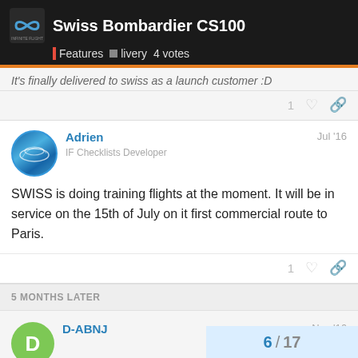Swiss Bombardier CS100 | Features | livery | 4 votes
It's finally delivered to swiss as a launch customer :D
Adrien
IF Checklists Developer
Jul '16

SWISS is doing training flights at the moment. It will be in service on the 15th of July on it first commercial route to Paris.
5 MONTHS LATER
D-ABNJ
Nov '16

We
6 / 17